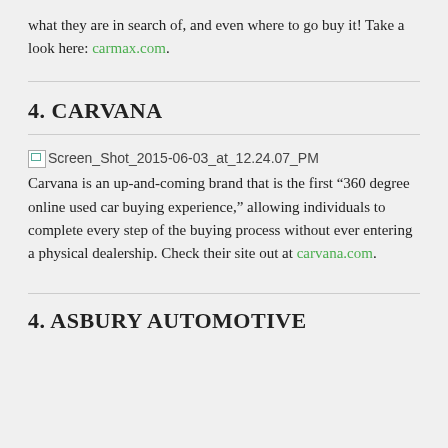what they are in search of, and even where to go buy it! Take a look here: carmax.com.
4. CARVANA
[Figure (screenshot): Broken image placeholder: Screen_Shot_2015-06-03_at_12.24.07_PM]
Carvana is an up-and-coming brand that is the first “360 degree online used car buying experience,” allowing individuals to complete every step of the buying process without ever entering a physical dealership. Check their site out at carvana.com.
4. ASBURY AUTOMOTIVE